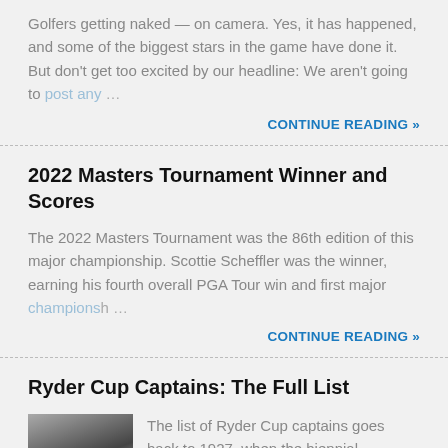Golfers getting naked — on camera. Yes, it has happened, and some of the biggest stars in the game have done it. But don't get too excited by our headline: We aren't going to post any …
CONTINUE READING »
2022 Masters Tournament Winner and Scores
The 2022 Masters Tournament was the 86th edition of this major championship. Scottie Scheffler was the winner, earning his fourth overall PGA Tour win and first major championship …
CONTINUE READING »
Ryder Cup Captains: The Full List
[Figure (photo): Black and white group photo of Ryder Cup team/captains]
The list of Ryder Cup captains goes back to 1927, when the biennial tournament began.